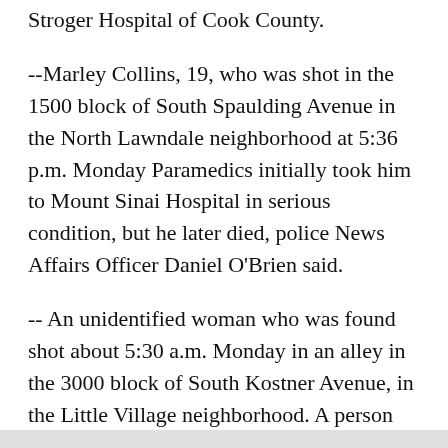Stroger Hospital of Cook County.
--Marley Collins, 19, who was shot in the 1500 block of South Spaulding Avenue in the North Lawndale neighborhood at 5:36 p.m. Monday Paramedics initially took him to Mount Sinai Hospital in serious condition, but he later died, police News Affairs Officer Daniel O'Brien said.
-- An unidentified woman who was found shot about 5:30 a.m. Monday in an alley in the 3000 block of South Kostner Avenue, in the Little Village neighborhood. A person walking a dog found the woman bleeding from the head and called emergency crews, who took her to Stroger Hospital of Cook County, where she died, police said.